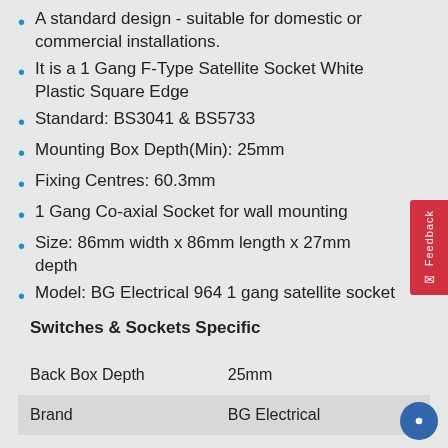A standard design - suitable for domestic or commercial installations.
It is a 1 Gang F-Type Satellite Socket White Plastic Square Edge
Standard: BS3041 & BS5733
Mounting Box Depth(Min): 25mm
Fixing Centres: 60.3mm
1 Gang Co-axial Socket for wall mounting
Size: 86mm width x 86mm length x 27mm depth
Model: BG Electrical 964 1 gang satellite socket
Switches & Sockets Specific
| Property | Value |
| --- | --- |
| Back Box Depth | 25mm |
| Brand | BG Electrical |
| Finish | White |